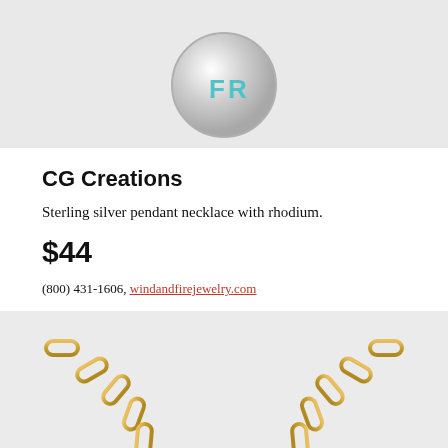[Figure (photo): Silver pendant necklace with turquoise/teal initials, shown against light gray background, cropped at top showing bottom portion of pendant]
CG Creations
Sterling silver pendant necklace with rhodium.
$44
(800) 431-1606, windandfirejewelry.com
[Figure (photo): Gold paperclip chain necklace with gold script lettering, shown against light gray background, partially cropped]